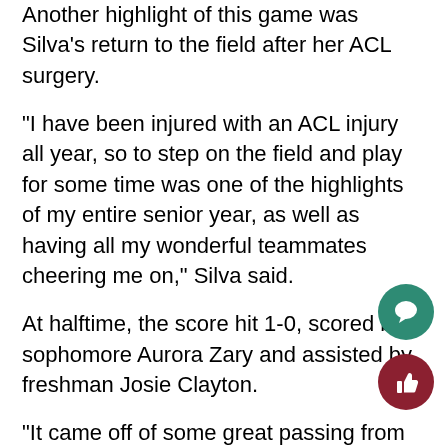Another highlight of this game was Silva's return to the field after her ACL surgery.
“I have been injured with an ACL injury all year, so to step on the field and play for some time was one of the highlights of my entire senior year, as well as having all my wonderful teammates cheering me on,” Silva said.
At halftime, the score hit 1-0, scored by sophomore Aurora Zary and assisted by freshman Josie Clayton.
“It came off of some great passing from [freshman] Anna Chau and a nice cross from Josie Clayton, and it was great to see some key underclassmen leading the way and showing the potential for years to co… Silva said.
The final score was 2-0, with the last goal scored Chau and assisted by Curtis.